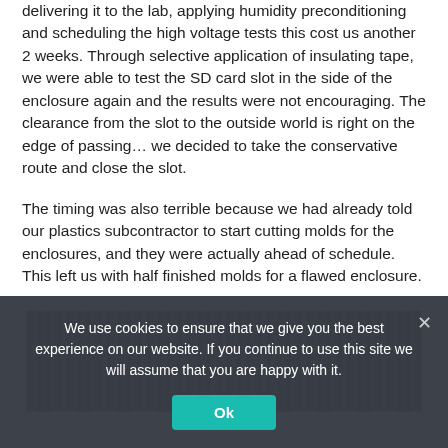delivering it to the lab, applying humidity preconditioning and scheduling the high voltage tests this cost us another 2 weeks.  Through selective application of insulating tape, we were able to test the SD card slot in the side of the enclosure again and the results were not encouraging.  The clearance from the slot to the outside world is right on the edge of passing… we decided to take the conservative route and close the slot.
The timing was also terrible because we had already told our plastics subcontractor to start cutting molds for the enclosures, and they were actually ahead of schedule.  This left us with half finished molds for a flawed enclosure.
[Figure (photo): Close-up photograph of what appears to be a ribbed/finned plastic or metal enclosure surface, showing repeating parallel ridges or slots.]
We use cookies to ensure that we give you the best experience on our website. If you continue to use this site we will assume that you are happy with it.